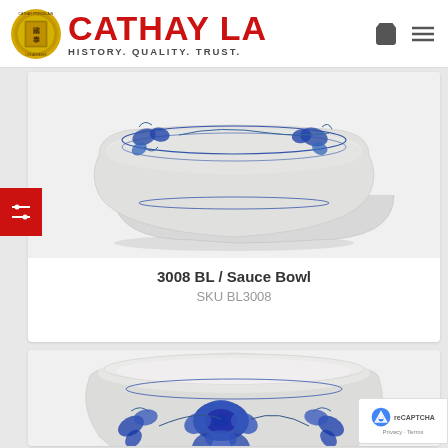[Figure (logo): Cathay LA website header with circular gold logo seal and red CATHAY LA brand name, tagline HISTORY. QUALITY. TRUST., shopping cart and hamburger menu icons]
[Figure (photo): Blue and white ceramic sauce bowl with floral vine pattern on the rim, viewed from a slight angle]
3008 BL / Sauce Bowl
SKU BL3008
[Figure (photo): Blue and white ceramic bowl with large peony floral pattern, wider and shallower shape, viewed from a slight angle]